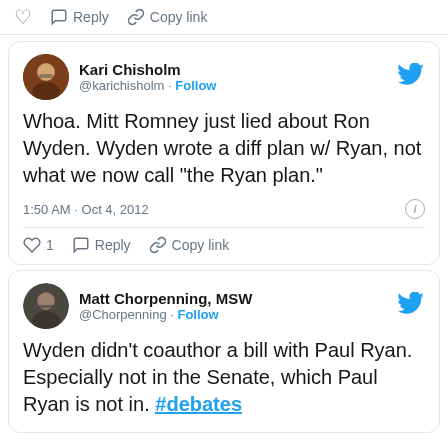1:45 AM · Oct 4, 2012 — Reply, Copy link actions bar
Kari Chisholm @karichisholm · Follow
Whoa. Mitt Romney just lied about Ron Wyden. Wyden wrote a diff plan w/ Ryan, not what we now call "the Ryan plan."
1:50 AM · Oct 4, 2012
1 · Reply · Copy link
Matt Chorpenning, MSW @Chorpenning · Follow
Wyden didn't coauthor a bill with Paul Ryan. Especially not in the Senate, which Paul Ryan is not in. #debates